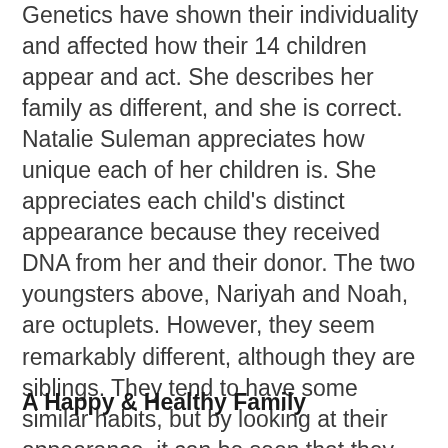Genetics have shown their individuality and affected how their 14 children appear and act. She describes her family as different, and she is correct. Natalie Suleman appreciates how unique each of her children is. She appreciates each child's distinct appearance because they received DNA from her and their donor. The two youngsters above, Nariyah and Noah, are octuplets. However, they seem remarkably different, although they are siblings. They tend to have some similar habits, but by looking at their appearance, it can be seen that they are distinct.
A Happy & Healthy Family